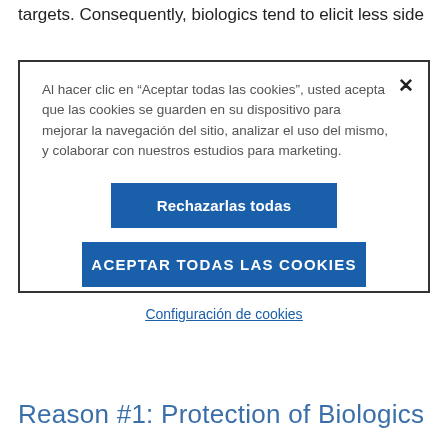targets.  Consequently, biologics tend to elicit less side effects...
Al hacer clic en “Aceptar todas las cookies”, usted acepta que las cookies se guarden en su dispositivo para mejorar la navegación del sitio, analizar el uso del mismo, y colaborar con nuestros estudios para marketing.
Rechazarlas todas
ACEPTAR TODAS LAS COOKIES
Configuración de cookies
Reason #1: Protection of Biologics